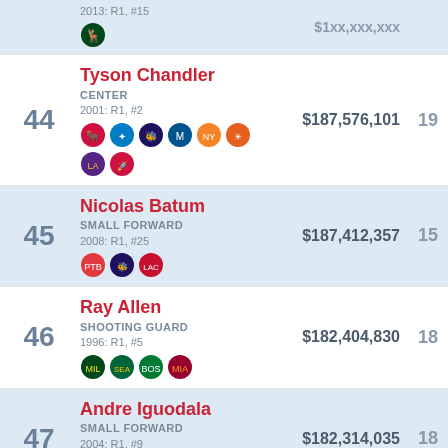| Rank | Player | Salary | Seasons |
| --- | --- | --- | --- |
| 43 (partial) | 2013: R1, #15 | Milwaukee Bucks | $1xx,xxx,xxx | xx |
| 44 | Tyson Chandler
CENTER
2001: R1, #2
Chicago Bulls, Orlando Magic, Charlotte Bobcats, Dallas Mavericks, New York Knicks, Phoenix Suns, LA Lakers, Houston Rockets | $187,576,101 | 19 |
| 45 | Nicolas Batum
SMALL FORWARD
2008: R1, #25
Portland Trail Blazers, Charlotte Hornets, LA Clippers | $187,412,357 | 15 |
| 46 | Ray Allen
SHOOTING GUARD
1996: R1, #5
Milwaukee Bucks, Seattle SuperSonics, Boston Celtics, Miami Heat | $182,404,830 | 18 |
| 47 | Andre Iguodala
SMALL FORWARD
2004: R1, #9
Philadelphia 76ers, Denver Nuggets, Golden State Warriors, Miami Heat, Memphis Grizzlies | $182,314,035 | 18 |
| 48 (partial) | Jason Kidd
POINT GUARD |  |  |